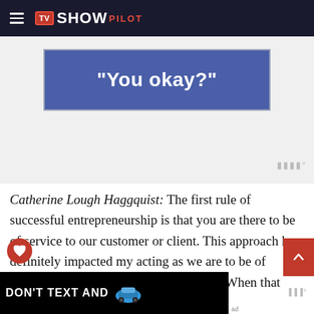TV SHOW PILOT
[Figure (screenshot): Blue banner advertisement with white bold text reading "You okay?"]
Catherine Lough Haggquist: The first rule of successful entrepreneurship is that you are there to be of service to our customer or client. This approach has definitely impacted my acting as we are to be of service to the story and to our audience. When that service element is present, it creates a connection. When that connection
[Figure (screenshot): Bottom advertisement banner: DON'T TEXT AND [car image] with NHTSA logo]